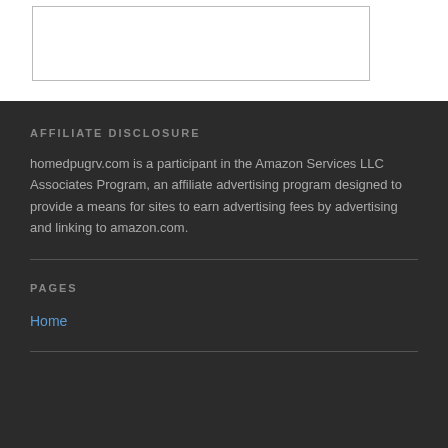[Figure (other): Partial bordered box visible at top of page]
AFFILIATE DISCLOSURE
homedpugrv.com is a participant in the Amazon Services LLC Associates Program, an affiliate advertising program designed to provide a means for sites to earn advertising fees by advertising and linking to amazon.com.
PAGES
Home